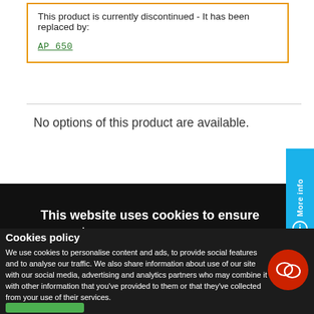This product is currently discontinued - It has been replaced by:
AP 650
No options of this product are available.
This website uses cookies to ensure you get the best experience on our website.
Cookies policy
We use cookies to personalise content and ads, to provide social features and to analyse our traffic. We also share information about use of our site with our social media, advertising and analytics partners who may combine it with other information that you've provided to them or that they've collected from your use of their services.